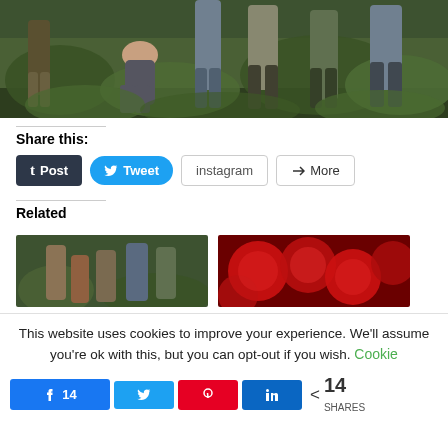[Figure (photo): Group of people standing in a forest setting with green foliage, partially cropped showing bodies from waist down and one crouching woman visible]
Share this:
Post  Tweet  instagram  More
Related
[Figure (photo): Group of young men standing together outdoors in a forest-like setting]
[Figure (photo): Close-up of red circular objects, possibly apples or blood cells]
This website uses cookies to improve your experience. We'll assume you're ok with this, but you can opt-out if you wish. Cookie
14  14 SHARES